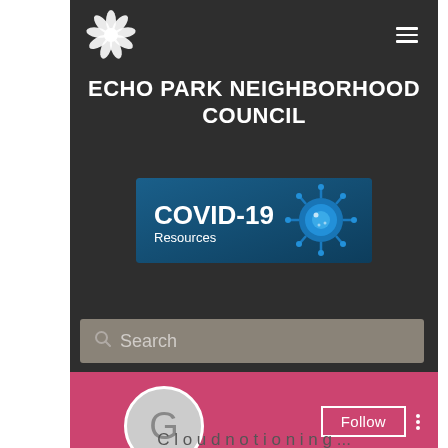[Figure (logo): White lotus/flower logo icon centered in navigation bar]
ECHO PARK NEIGHBORHOOD COUNCIL
[Figure (screenshot): COVID-19 Resources banner with blue background showing a coronavirus particle illustration and text 'COVID-19 Resources']
Search
[Figure (screenshot): Pink Google+ social section with a Follow button (white border) and three vertical dots menu. A gray circle avatar with letter G is partially visible.]
G